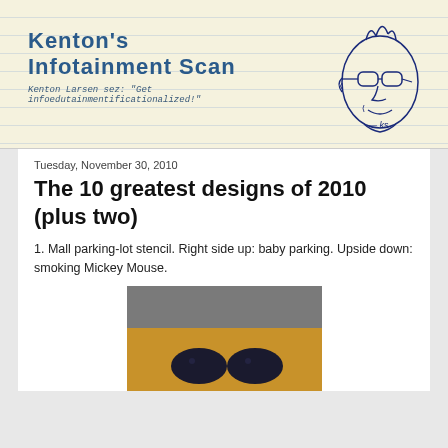Kenton's Infotainment Scan — Kenton Larsen sez: "Get infoedutainmentificationalized!"
Tuesday, November 30, 2010
The 10 greatest designs of 2010 (plus two)
1. Mall parking-lot stencil. Right side up: baby parking. Upside down: smoking Mickey Mouse.
[Figure (photo): Close-up photo of a mall parking lot stencil on a tan/orange surface showing two dark oval shapes (eyes of the stencil) against a grey background at the top]